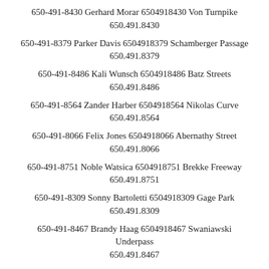650-491-8430 Gerhard Morar 6504918430 Von Turnpike 650.491.8430
650-491-8379 Parker Davis 6504918379 Schamberger Passage 650.491.8379
650-491-8486 Kali Wunsch 6504918486 Batz Streets 650.491.8486
650-491-8564 Zander Harber 6504918564 Nikolas Curve 650.491.8564
650-491-8066 Felix Jones 6504918066 Abernathy Street 650.491.8066
650-491-8751 Noble Watsica 6504918751 Brekke Freeway 650.491.8751
650-491-8309 Sonny Bartoletti 6504918309 Gage Park 650.491.8309
650-491-8467 Brandy Haag 6504918467 Swaniawski Underpass 650.491.8467
650-491-8287 Nathanael Feil 6504918287 Crooks Isle